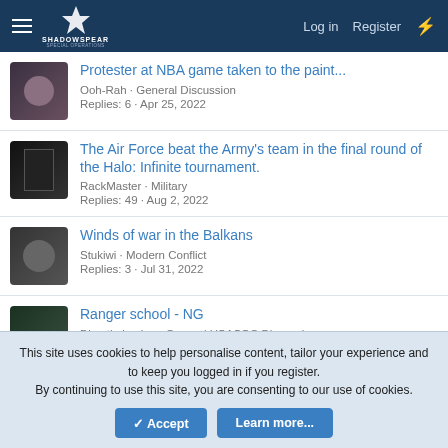ShadowSpear Special Operations — Log in | Register
Protester at NBA game taken to the paint... | Ooh-Rah · General Discussion | Replies: 6 · Apr 25, 2022
The Air Force beat the Army's team in the final round of the Halo: Infinite tournament. | RackMaster · Military | Replies: 49 · Aug 2, 2022
Winds of war in the Balkans | Stukiwi · Modern Conflict | Replies: 3 · Jul 31, 2022
Ranger school - NG | Dimethylamine · General USASOC Discussion
This site uses cookies to help personalise content, tailor your experience and to keep you logged in if you register. By continuing to use this site, you are consenting to our use of cookies.